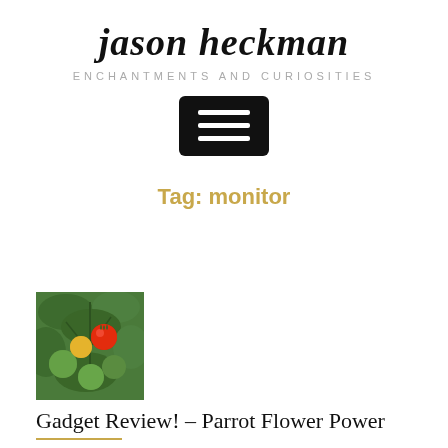jason heckman
ENCHANTMENTS AND CURIOSITIES
[Figure (other): Hamburger menu button icon — black rounded rectangle with three white horizontal lines]
Tag: monitor
[Figure (photo): Thumbnail photo of tomato plant with green, yellow, and red tomatoes on the vine]
Gadget Review! – Parrot Flower Power